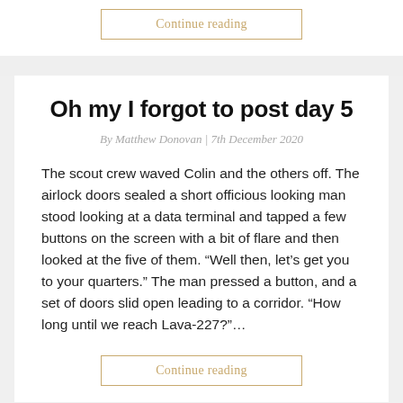Continue reading
Oh my I forgot to post day 5
By Matthew Donovan | 7th December 2020
The scout crew waved Colin and the others off. The airlock doors sealed a short officious looking man stood looking at a data terminal and tapped a few buttons on the screen with a bit of flare and then looked at the five of them. “Well then, let’s get you to your quarters.” The man pressed a button, and a set of doors slid open leading to a corridor. “How long until we reach Lava-227?”…
Continue reading